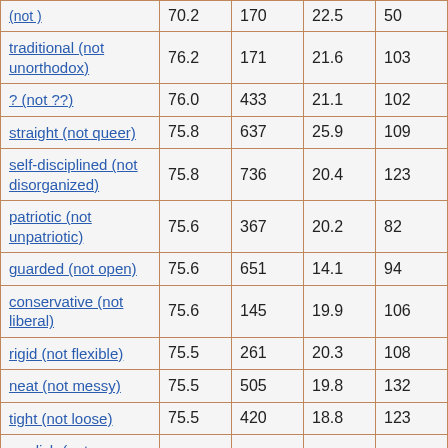| (not ) | 70.2 | 170 | 22.5 | 50 |
| traditional (not unorthodox) | 76.2 | 171 | 21.6 | 103 |
| ? (not ??) | 76.0 | 433 | 21.1 | 102 |
| straight (not queer) | 75.8 | 637 | 25.9 | 109 |
| self-disciplined (not disorganized) | 75.8 | 736 | 20.4 | 123 |
| patriotic (not unpatriotic) | 75.6 | 367 | 20.2 | 82 |
| guarded (not open) | 75.6 | 651 | 14.1 | 94 |
| conservative (not liberal) | 75.6 | 145 | 19.9 | 106 |
| rigid (not flexible) | 75.5 | 261 | 20.3 | 108 |
| neat (not messy) | 75.5 | 505 | 19.8 | 132 |
| tight (not loose) | 75.5 | 420 | 18.8 | 123 |
| prudish (not flirtatious) | 75.3 | 155 | 18.4 | 52 |